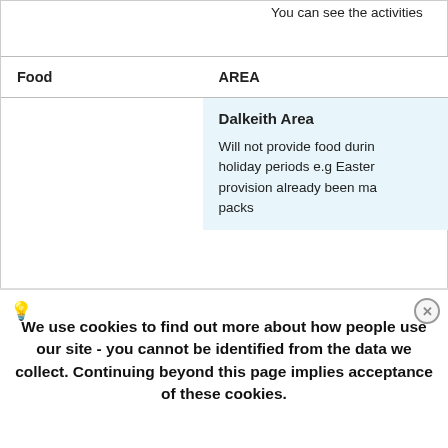You can see the activities
| Food | AREA |
| --- | --- |
|  | Dalkeith Area

Will not provide food during holiday periods e.g Easter provision already been made packs |
We use cookies to find out more about how people use our site - you cannot be identified from the data we collect. Continuing beyond this page implies acceptance of these cookies.